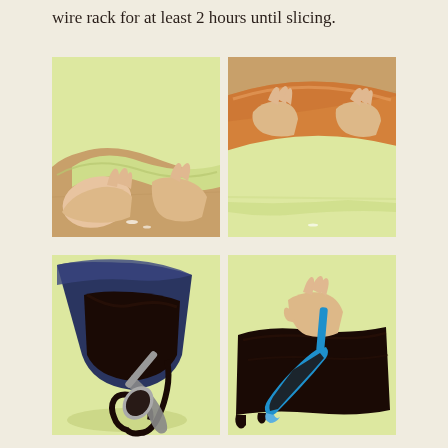wire rack for at least 2 hours until slicing.
[Figure (photo): Four step-by-step cooking photos in a 2x2 grid. Top-left: hands folding pale yellow dough on a wooden surface. Top-right: hands rolling dough around a rolling pin on wooden surface. Bottom-left: dark chocolate ganache in a mixing bowl with a spoon spreading it on a yellow surface. Bottom-right: a hand using a blue spatula to spread dark chocolate ganache on a yellow surface.]